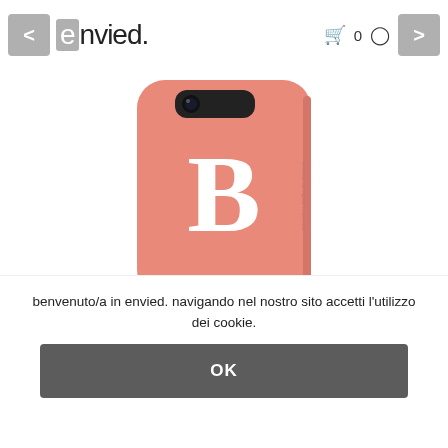envied.
[Figure (photo): Pink iPhone case with large white letter B and 'envied.' branding at the bottom, shown on a white background]
benvenuto/a in envied. navigando nel nostro sito accetti l'utilizzo dei cookie.
OK